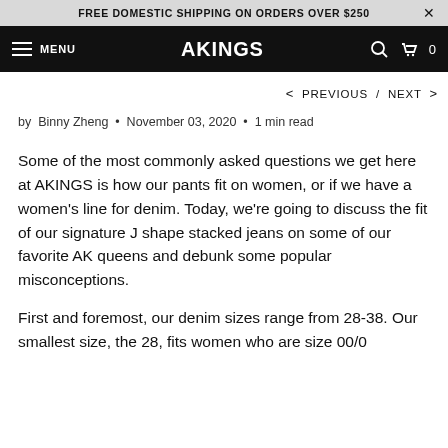FREE DOMESTIC SHIPPING ON ORDERS OVER $250
MENU  AKINGS  0
< PREVIOUS / NEXT >
by Binny Zheng • November 03, 2020 • 1 min read
Some of the most commonly asked questions we get here at AKINGS is how our pants fit on women, or if we have a women's line for denim. Today, we're going to discuss the fit of our signature J shape stacked jeans on some of our favorite AK queens and debunk some popular misconceptions.
First and foremost, our denim sizes range from 28-38. Our smallest size, the 28, fits women who are size 00/0